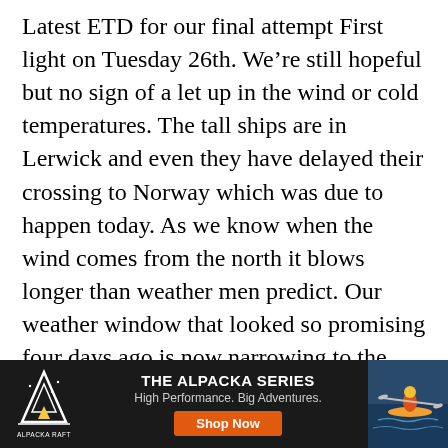Latest ETD for our final attempt First light on Tuesday 26th. We're still hopeful but no sign of a let up in the wind or cold temperatures. The tall ships are in Lerwick and even they have delayed their crossing to Norway which was due to happen today. As we know when the wind comes from the north it blows longer than weather men predict. Our weather window that looked so promising four days ago is now narrowing to the extent that we will have to endure one rough night. The difference this time is that it will be almost impossible to get back to Shetland once we've started. To boost our chances we've relieved the
[Figure (other): Advertisement banner for 'The Alpacka Series' with logo on left, text 'THE ALPACKA SERIES / High Performance. Big Adventures.' in center, an orange 'Shop Now' button, and a kayaker image on the right, all on a dark background.]